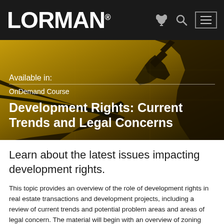LORMAN®
[Figure (photo): Dark silhouettes of hands and construction tools against a golden/yellow background, simulating a construction scene]
Available in:
OnDemand Course
Development Rights: Current Trends and Legal Concerns
Learn about the latest issues impacting development rights.
This topic provides an overview of the role of development rights in real estate transactions and development projects, including a review of current trends and potential problem areas and areas of legal concern. The material will begin with an overview of zoning regulations, including use, floor